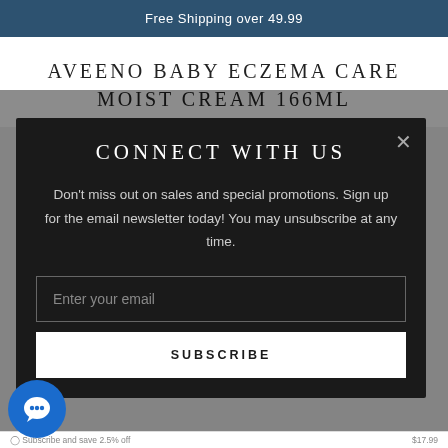Free Shipping over 49.99
AVEENO BABY ECZEMA CARE MOIST CREAM 166ML
CONNECT WITH US
Don't miss out on sales and special promotions. Sign up for the email newsletter today! You may unsubscribe at any time.
Enter your email
SUBSCRIBE